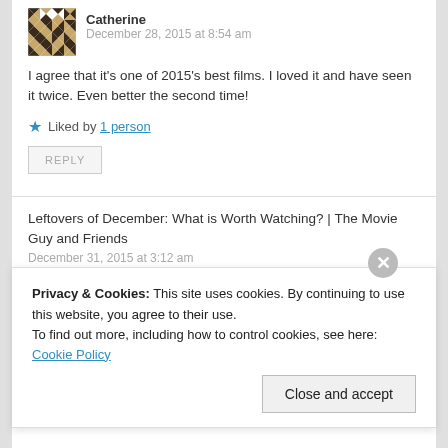[Figure (illustration): Geometric avatar icon with dark brown and white diamond/star pattern]
Catherine
December 28, 2015 at 8:54 am
I agree that it's one of 2015's best films. I loved it and have seen it twice. Even better the second time!
★ Liked by 1 person
REPLY
Leftovers of December: What is Worth Watching? | The Movie Guy and Friends
December 31, 2015 at 3:12 am
Privacy & Cookies: This site uses cookies. By continuing to use this website, you agree to their use.
To find out more, including how to control cookies, see here: Cookie Policy
Close and accept